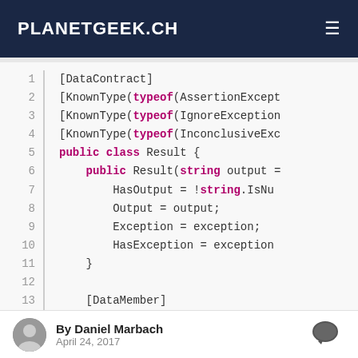PLANETGEEK.CH
[Figure (screenshot): Code snippet showing a C# class with DataContract, KnownType attributes, public class Result, constructor, and DataMember attribute, with lines 1-16 visible]
By Daniel Marbach
April 24, 2017